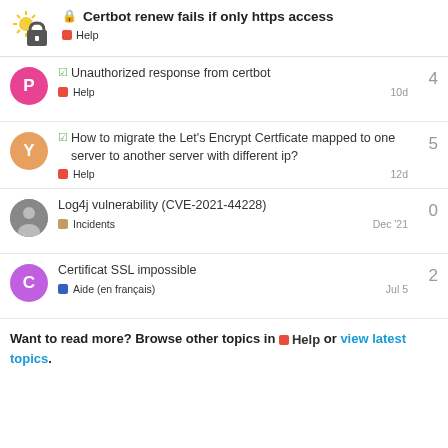Certbot renew fails if only https access — Help
Unauthorized response from certbot — Help — 4 — 10d
How to migrate the Let's Encrypt Certficate mapped to one server to another server with different ip? — Help — 5 — 12d
Log4j vulnerability (CVE-2021-44228) — Incidents — 0 — Dec '21
Certificat SSL impossible — Aide (en français) — 2 — Jul 5
Want to read more? Browse other topics in Help or view latest topics.